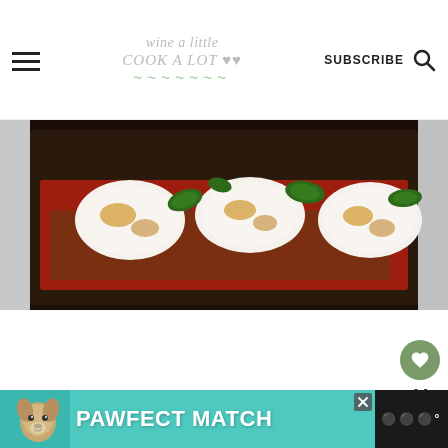wine a little cook a lot — SUBSCRIBE
[Figure (photo): A cast iron skillet with chicken parmesan topped with melted mozzarella, tomato sauce, and fresh basil leaves]
[Figure (infographic): Side action buttons: heart/like button with count 14, and a share button]
[Figure (photo): Advertisement banner: PAWFECT MATCH with a dog image on teal background]